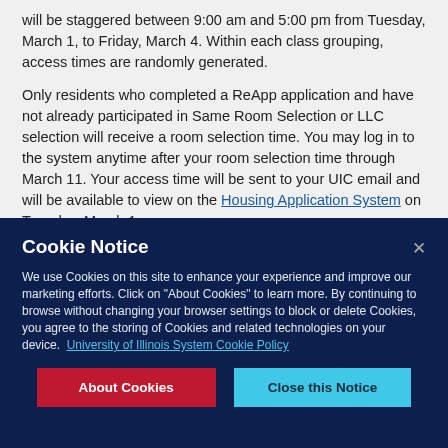will be staggered between 9:00 am and 5:00 pm from Tuesday, March 1, to Friday, March 4. Within each class grouping, access times are randomly generated.
Only residents who completed a ReApp application and have not already participated in Same Room Selection or LLC selection will receive a room selection time. You may log in to the system anytime after your room selection time through March 11. Your access time will be sent to your UIC email and will be available to view on the Housing Application System on Tuesday, March 1.
Cookie Notice
We use Cookies on this site to enhance your experience and improve our marketing efforts. Click on "About Cookies" to learn more. By continuing to browse without changing your browser settings to block or delete Cookies, you agree to the storing of Cookies and related technologies on your device. University of Illinois System Cookie Policy